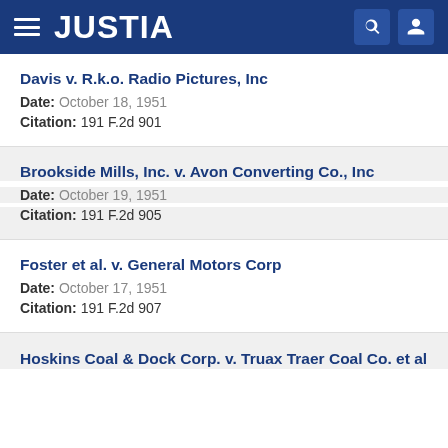JUSTIA
Davis v. R.k.o. Radio Pictures, Inc
Date: October 18, 1951
Citation: 191 F.2d 901
Brookside Mills, Inc. v. Avon Converting Co., Inc
Date: October 19, 1951
Citation: 191 F.2d 905
Foster et al. v. General Motors Corp
Date: October 17, 1951
Citation: 191 F.2d 907
Hoskins Coal & Dock Corp. v. Truax Traer Coal Co. et al